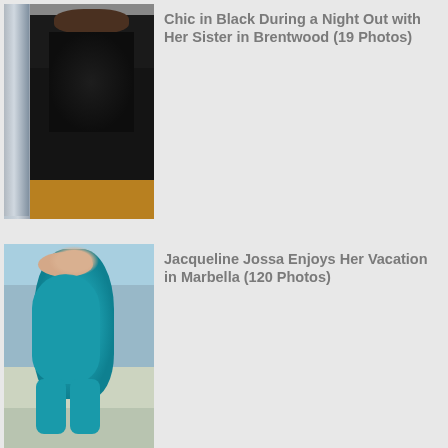[Figure (photo): Person dressed in all black outfit standing outside at night near a car and restaurant]
Chic in Black During a Night Out with Her Sister in Brentwood (19 Photos)
[Figure (photo): Woman in teal blue one-piece halter swimsuit walking on beach in Marbella]
Jacqueline Jossa Enjoys Her Vacation in Marbella (120 Photos)